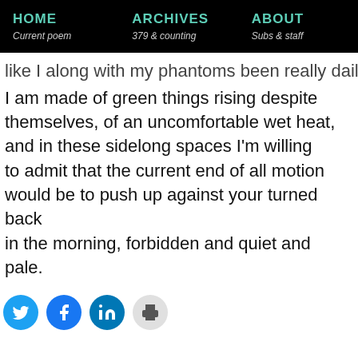HOME | Current poem    ARCHIVES | 379 & counting    ABOUT | Subs & staff
like I along with my phantoms been really daily),
I am made of green things rising despite
themselves, of an uncomfortable wet heat,
and in these sidelong spaces I'm willing
to admit that the current end of all motion
would be to push up against your turned back
in the morning, forbidden and quiet and pale.
[Figure (other): Row of social share buttons: Twitter (blue bird), Facebook (blue f), LinkedIn (blue in), Print (grey printer)]